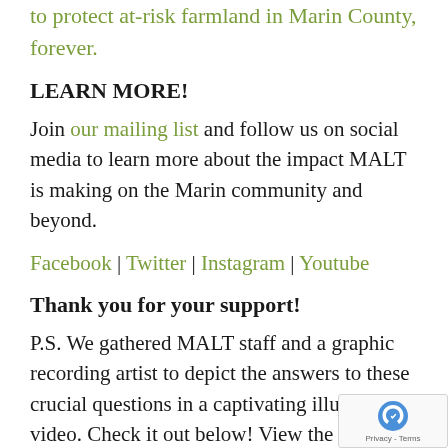to protect at-risk farmland in Marin County, forever.
LEARN MORE!
Join our mailing list and follow us on social media to learn more about the impact MALT is making on the Marin community and beyond.
Facebook | Twitter | Instagram | Youtube
Thank you for your support!
P.S. We gathered MALT staff and a graphic recording artist to depict the answers to these crucial questions in a captivating illustrated video. Check it out below! View the final vis...